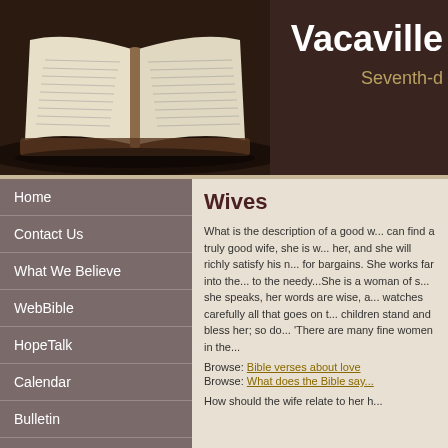[Figure (screenshot): Church website header with open Bible image on the left and text 'Vacaville Seventh-d' on the right against a dark brown background]
Vacaville
Seventh-d
Home
Contact Us
What We Believe
WebBible
HopeTalk
Calendar
Bulletin
Prayer Requests
Feedback
Vacaville Church Life
Wives
What is the description of a good w... can find a truly good wife, she is w... her, and she will richly satisfy his n... for bargains. She works far into the... to the needy...She is a woman of s... she speaks, her words are wise, a... watches carefully all that goes on t... children stand and bless her; so do... 'There are many fine women in the...
Browse: Bible verses about love
Browse: What does the Bible say...
How should the wife relate to her h...